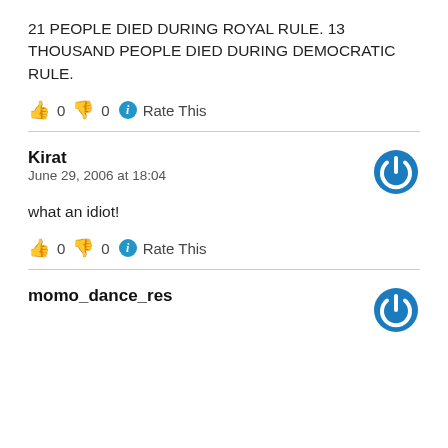21 PEOPLE DIED DURING ROYAL RULE. 13 THOUSAND PEOPLE DIED DURING DEMOCRATIC RULE.
👍 0 👎 0 ℹ Rate This
Kirat
June 29, 2006 at 18:04
what an idiot!
👍 0 👎 0 ℹ Rate This
momo_dance_res